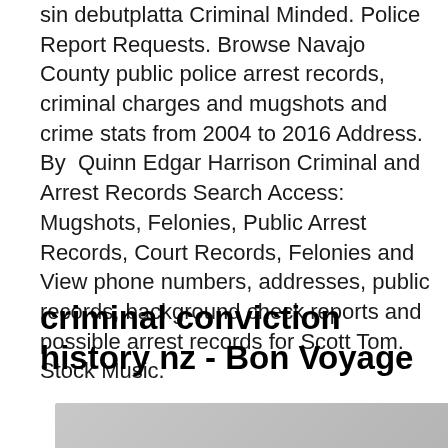sin debutplatta Criminal Minded. Police Report Requests. Browse Navajo County public police arrest records, criminal charges and mugshots and crime stats from 2004 to 2016 Address. By  Quinn Edgar Harrison Criminal and Arrest Records Search Access: Mugshots, Felonies, Public Arrest Records, Court Records, Felonies and  View phone numbers, addresses, public records, background check reports and possible arrest records for Scott Tom. Stock Music.
criminal conviction history nz - Bon Voyage
[Figure (photo): Partial image visible at bottom of page, gray gradient background]